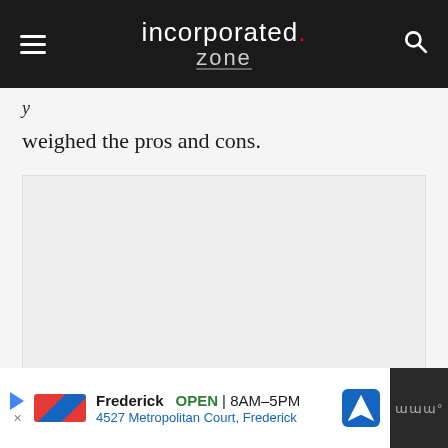incorporated.zone
weighed the pros and cons.
[Figure (other): Blank/loading image placeholder area with light gray background]
Frederick  OPEN | 8AM–5PM  4527 Metropolitan Court, Frederick